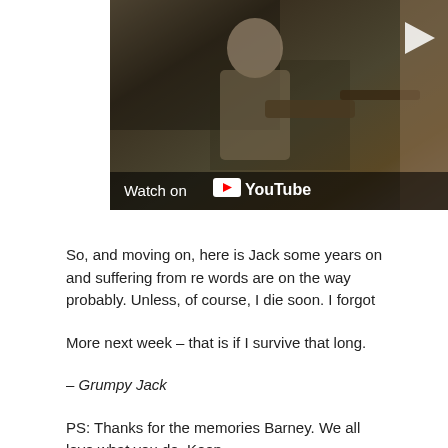[Figure (screenshot): YouTube video thumbnail showing a person, with a play button in the upper right and a 'Watch on YouTube' bar at the bottom]
So, and moving on, here is Jack some years on and suffering from re words are on the way probably. Unless, of course, I die soon. I forgot
More next week – that is if I survive that long.
– Grumpy Jack
PS: Thanks for the memories Barney. We all love what you do. Keep
Comments enabled – see comments box below. Note, all com